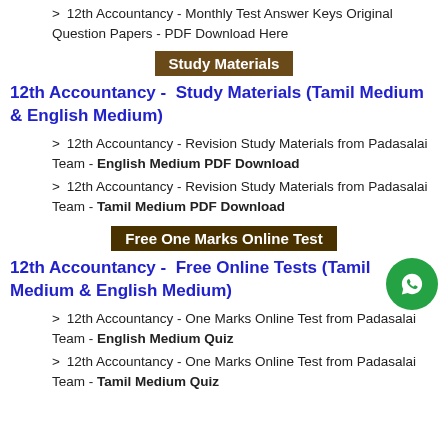> 12th Accountancy - Monthly Test Answer Keys Original Question Papers - PDF Download Here
Study Materials
12th Accountancy -  Study Materials (Tamil Medium & English Medium)
> 12th Accountancy - Revision Study Materials from Padasalai Team - English Medium PDF Download
> 12th Accountancy - Revision Study Materials from Padasalai Team - Tamil Medium PDF Download
Free One Marks Online Test
12th Accountancy -  Free Online Tests (Tamil Medium & English Medium)
> 12th Accountancy - One Marks Online Test from Padasalai Team - English Medium Quiz
> 12th Accountancy - One Marks Online Test from Padasalai Team - Tamil Medium Quiz